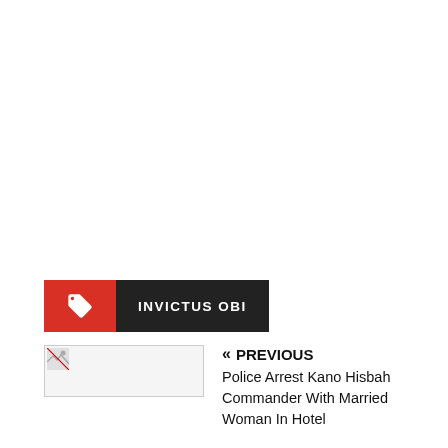INVICTUS OBI
« PREVIOUS
Police Arrest Kano Hisbah Commander With Married Woman In Hotel
NEXT »
Herdsmen Kill Ogun Woman, Dump Corpse Behind